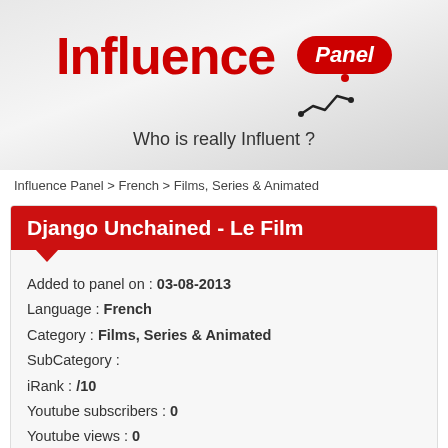[Figure (logo): Influence Panel logo with red 'Influence' text, red rounded 'Panel' badge, tagline 'Who is really Influent?' and a line chart icon]
Influence Panel > French > Films, Series & Animated
Django Unchained - Le Film
Added to panel on : 03-08-2013
Language : French
Category : Films, Series & Animated
SubCategory :
iRank : /10
Youtube subscribers : 0
Youtube views : 0
Facebook Likes : 0
Twitter Followers : 0
Instagram Followers : 0